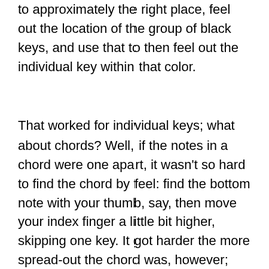to approximately the right place, feel out the location of the group of black keys, and use that to then feel out the individual key within that color.
That worked for individual keys; what about chords? Well, if the notes in a chord were one apart, it wasn't so hard to find the chord by feel: find the bottom note with your thumb, say, then move your index finger a little bit higher, skipping one key. It got harder the more spread-out the chord was, however; and eventually, when chords got wide enough I became completely unable to